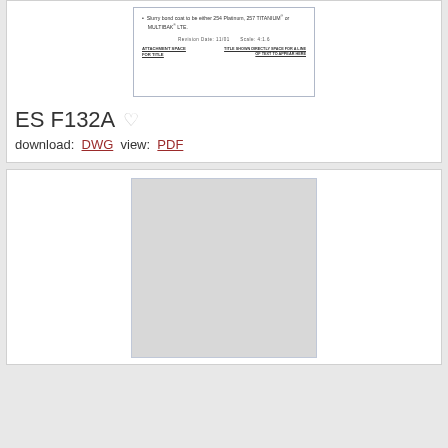[Figure (screenshot): Engineering drawing document preview showing a bullet point note about Slurry bond coat and a revision/scale footer with title block]
ES F132A ♡
download: DWG view: PDF
[Figure (screenshot): Large gray placeholder rectangle representing a loading or blank engineering drawing document preview]